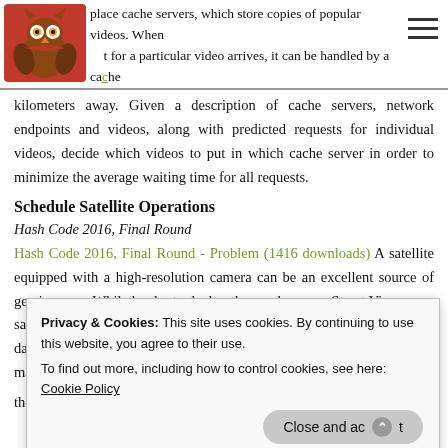place cache servers, which store copies of popular videos. When a request for a particular video arrives, it can be handled by a cache server close to the user, rather than by a remote data center thousands of
kilometers away. Given a description of cache servers, network endpoints and videos, along with predicted requests for individual videos, decide which videos to put in which cache server in order to minimize the average waiting time for all requests.
Schedule Satellite Operations
Hash Code 2016, Final Round
Hash Code 2016, Final Round - Problem (1416 downloads) A satellite equipped with a high-resolution camera can be an excellent source of geo imagery. While harder to deploy than a plane or a Street View car, a satellite — once launched — provides a continuous stream of fresh data. Terra Bella is a division within Google that deploys and manages high-resolution i... t... a... s... i... the total value of delivered image collections is as high as possible.
Privacy & Cookies: This site uses cookies. By continuing to use this website, you agree to their use.
To find out more, including how to control cookies, see here: Cookie Policy
Close and accept